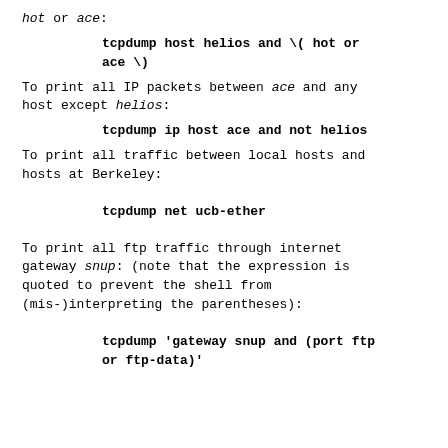hot or ace:
To print all IP packets between ace and any host except helios:
To print all traffic between local hosts and hosts at Berkeley:
To print all ftp traffic through internet gateway snup: (note that the expression is quoted to prevent the shell from (mis-)interpreting the parentheses):